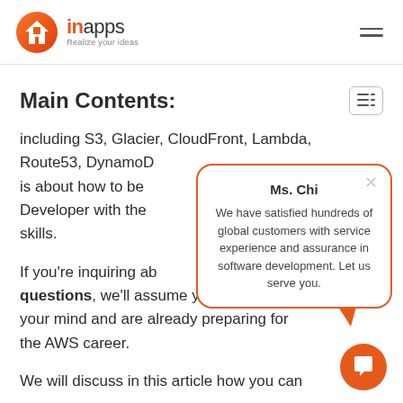InApps — Realize your ideas
Main Contents:
including S3, Glacier, CloudFront, Lambda, Route53, DynamoDB… is about how to become an AWS Developer with the necessary skills.
If you're inquiring about questions, we'll assume you've made up your mind and are already preparing for the AWS career.
We will discuss in this article how you can
[Figure (other): Chat popup widget with agent name Ms. Chi and message: We have satisfied hundreds of global customers with service experience and assurance in software development. Let us serve you. Orange border, white background, close button, and orange speech bubble tail pointing downward.]